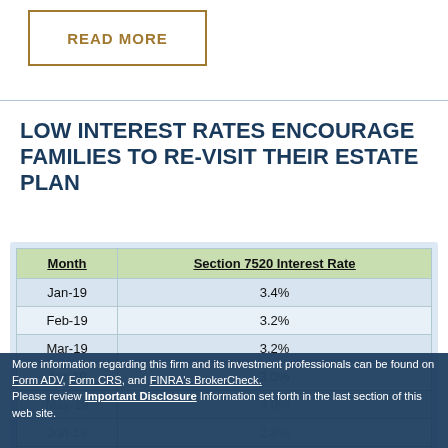READ MORE
LOW INTEREST RATES ENCOURAGE FAMILIES TO RE-VISIT THEIR ESTATE PLAN
| Month | Section 7520 Interest Rate |
| --- | --- |
| Jan-19 | 3.4% |
| Feb-19 | 3.2% |
| Mar-19 | 3.2% |
| Apr-19 | 3.0% |
| May-19 | 3.0% |
| Jun-19 | 2.8% |
| Jul-19 | 2.6% |
| Aug-19 | 2.2% |
More information regarding this firm and its investment professionals can be found on Form ADV, Form CRS, and FINRA's BrokerCheck. Please review Important Disclosure Information set forth in the last section of this web site.